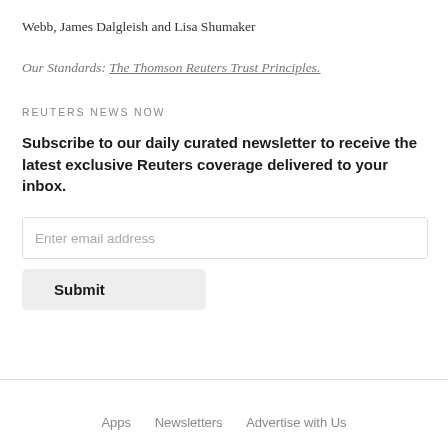Webb, James Dalgleish and Lisa Shumaker
Our Standards: The Thomson Reuters Trust Principles.
REUTERS NEWS NOW
Subscribe to our daily curated newsletter to receive the latest exclusive Reuters coverage delivered to your inbox.
Apps   Newsletters   Advertise with Us